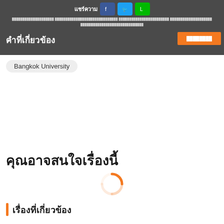แชร์ความ
[Thai text - social sharing bar with Facebook, Twitter, Line buttons]
[Thai text - second line of sharing bar]
คำที่เกี่ยวข้อง
[Thai button text - orange]
Bangkok University
คุณอาจสนใจเรื่องนี้
[Figure (other): Orange loading spinner/circle icon]
เรื่องที่เกี่ยวข้อง